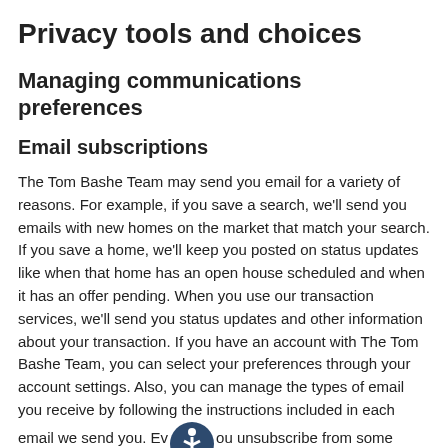Privacy tools and choices
Managing communications preferences
Email subscriptions
The Tom Bashe Team may send you email for a variety of reasons. For example, if you save a search, we'll send you emails with new homes on the market that match your search. If you save a home, we'll keep you posted on status updates like when that home has an open house scheduled and when it has an offer pending. When you use our transaction services, we'll send you status updates and other information about your transaction. If you have an account with The Tom Bashe Team, you can select your preferences through your account settings. Also, you can manage the types of email you receive by following the instructions included in each email we send you. Even if you unsubscribe from some email subscriptions, we may still